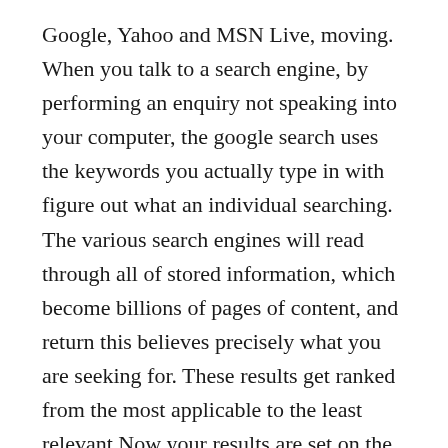Google, Yahoo and MSN Live, moving. When you talk to a search engine, by performing an enquiry not speaking into your computer, the google search uses the keywords you actually type in with figure out what an individual searching. The various search engines will read through all of stored information, which become billions of pages of content, and return this believes precisely what you are seeking for. These results get ranked from the most applicable to the least relevant.Now your results are set on the keywords or keyphrases you used to do the have a look. Heres where it gets interesting.
I recommend you to put your more keyword density in your article because, it helps the online to identify the